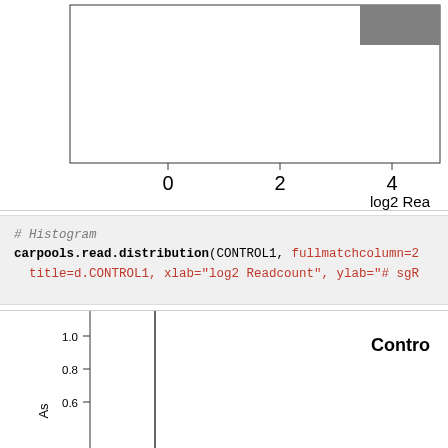[Figure (continuous-plot): Top portion of a histogram chart showing log2 Readcount on x-axis (values 0, 2, 4 visible), with a gray filled bar visible in upper right. The chart is cropped showing only the bottom portion of the plot area and x-axis labels.]
log2 Rea
# Histogram
carpools.read.distribution(CONTROL1, fullmatchcolumn=2
  title=d.CONTROL1, xlab="log2 Readcount", ylab="# sgR
[Figure (continuous-plot): Bottom portion of a second plot showing y-axis labels 1.0, 0.8, 0.6 and title 'Control' visible at top right. A vertical bar is visible. Y-axis label 'As' partially visible.]